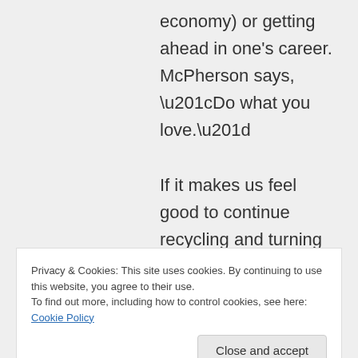economy) or getting ahead in one's career. McPherson says, “Do what you love.”

If it makes us feel good to continue recycling and turning off the lights, driving our Priusi, building
Privacy & Cookies: This site uses cookies. By continuing to use this website, you agree to their use.
To find out more, including how to control cookies, see here: Cookie Policy